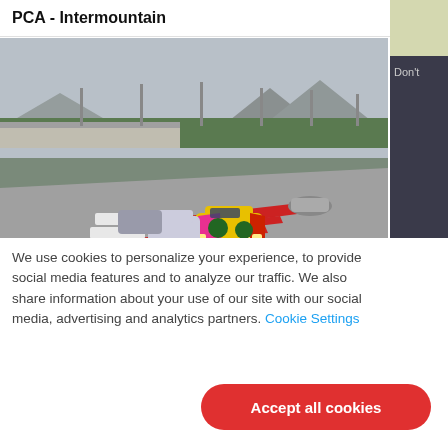PCA - Intermountain
[Figure (photo): Racing cars on a track, led by a yellow Porsche with colorful livery, on a circuit with grandstands and mountains in the background.]
We use cookies to personalize your experience, to provide social media features and to analyze our traffic. We also share information about your use of our site with our social media, advertising and analytics partners. Cookie Settings
Accept all cookies